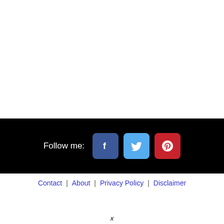[Figure (infographic): Social media follow buttons: Facebook (blue), Twitter (light blue), Pinterest (red), with 'Follow me:' label on black background]
Contact  |  About  |  Privacy Policy  |  Disclaimer